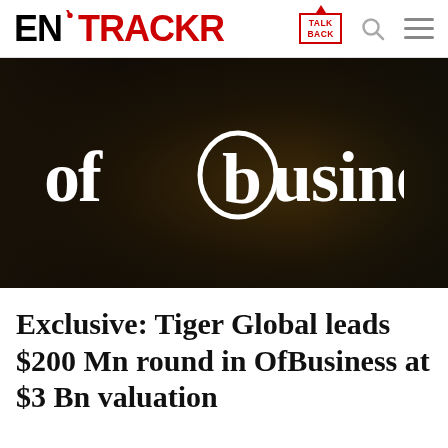ENTRACKR | TALK BACK | Search | Menu
[Figure (logo): ofbusiness logo on dark industrial background — white text logo reading 'ofbusiness' with a stylized 'b' enclosed in an oval on a dark brown/black background]
Exclusive: Tiger Global leads $200 Mn round in OfBusiness at $3 Bn valuation